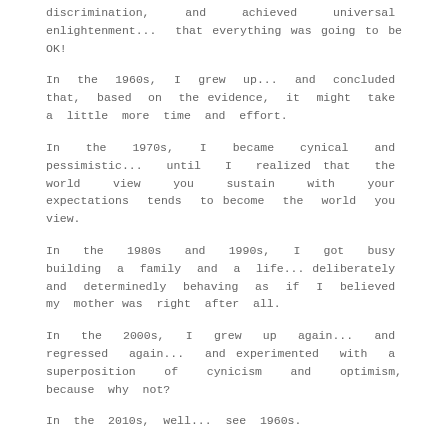discrimination, and achieved universal enlightenment... that everything was going to be OK!
In the 1960s, I grew up... and concluded that, based on the evidence, it might take a little more time and effort.
In the 1970s, I became cynical and pessimistic... until I realized that the world view you sustain with your expectations tends to become the world you view.
In the 1980s and 1990s, I got busy building a family and a life... deliberately and determinedly behaving as if I believed my mother was right after all.
In the 2000s, I grew up again... and regressed again... and experimented with a superposition of cynicism and optimism, because why not?
In the 2010s, well... see 1960s.
In the 2020s, see 1970s.  Except when I hear Biden express optimism and hope, I'm reminded of my mother.
Posted in ESSAYS, RANTS | 2 Comments »
Posted by...